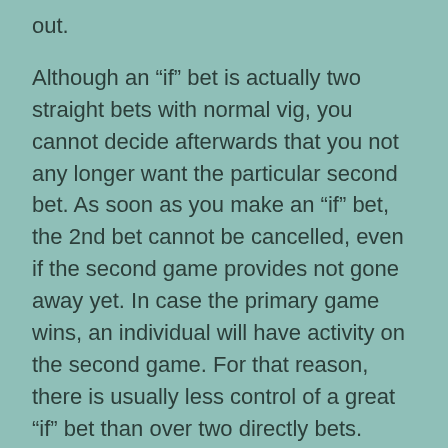out.
Although an “if” bet is actually two straight bets with normal vig, you cannot decide afterwards that you not any longer want the particular second bet. As soon as you make an “if” bet, the 2nd bet cannot be cancelled, even if the second game provides not gone away yet. In case the primary game wins, an individual will have activity on the second game. For that reason, there is usually less control of a great “if” bet than over two directly bets. Once the two games you bet overlap in time, yet , the only method to bet one particular only if one